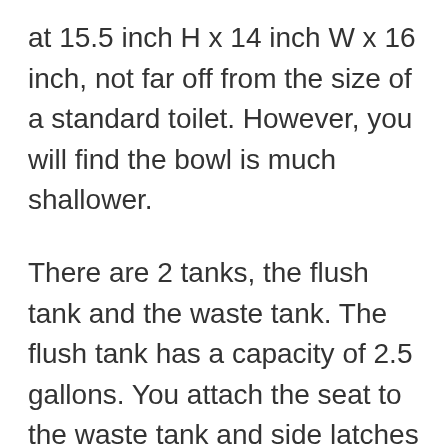at 15.5 inch H x 14 inch W x 16 inch, not far off from the size of a standard toilet. However, you will find the bowl is much shallower.
There are 2 tanks, the flush tank and the waste tank. The flush tank has a capacity of 2.5 gallons. You attach the seat to the waste tank and side latches to keep it together. To test it, run water through the bowl and shake it around to make sure it is water tight. You can return it unused if you get a malfunctioning one.